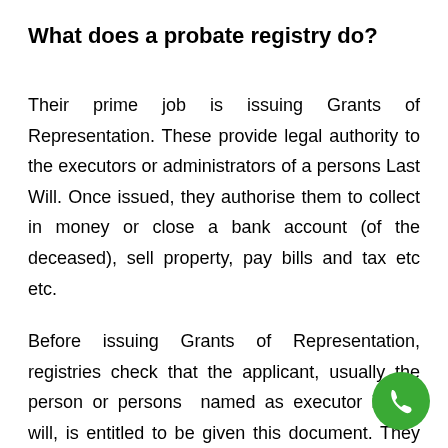What does a probate registry do?
Their prime job is issuing Grants of Representation. These provide legal authority to the executors or administrators of a persons Last Will. Once issued, they authorise them to collect in money or close a bank account (of the deceased), sell property, pay bills and tax etc etc.
Before issuing Grants of Representation, registries check that the applicant, usually the person or persons named as executor in the will, is entitled to be given this document. They must have carried out the
[Figure (other): Green circular phone/call button icon in bottom right corner]